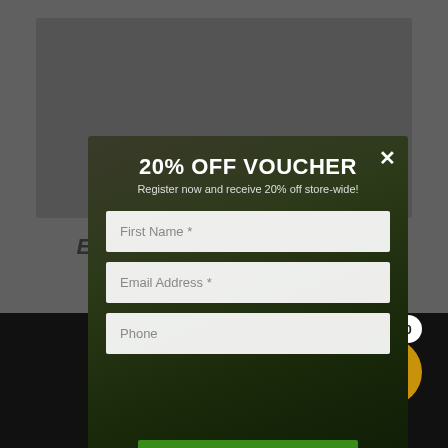[Figure (screenshot): Website screenshot showing an example article page with a gray background, an article title 'EXAMPLE ARTICLE TITLE', date 'August 19, 2022', and a modal popup overlay offering a '20% OFF VOUCHER'. The modal contains a form with fields for First Name, Email Address, and Phone, and a green 'REGISTER NOW' button. The bottom of the page shows a dark navigation bar with MENU text and a golden cart button with a '0' badge.]
20% OFF VOUCHER
Register now and receive 20% off store-wide!
EXAMPLE ARTICLE TITLE
August 19, 2022
First Name *
Email Address *
Phone
REGISTER NOW
MENU